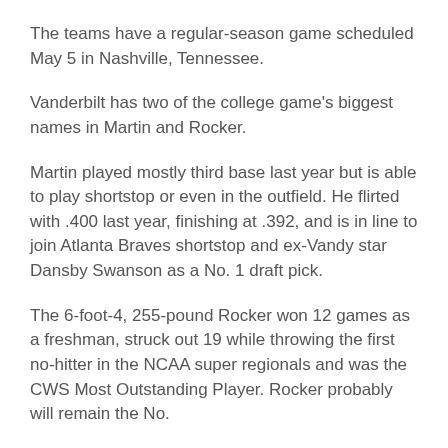The teams have a regular-season game scheduled May 5 in Nashville, Tennessee.
Vanderbilt has two of the college game's biggest names in Martin and Rocker.
Martin played mostly third base last year but is able to play shortstop or even in the outfield. He flirted with .400 last year, finishing at .392, and is in line to join Atlanta Braves shortstop and ex-Vandy star Dansby Swanson as a No. 1 draft pick.
The 6-foot-4, 255-pound Rocker won 12 games as a freshman, struck out 19 while throwing the first no-hitter in the NCAA super regionals and was the CWS Most Outstanding Player. Rocker probably will remain the No.